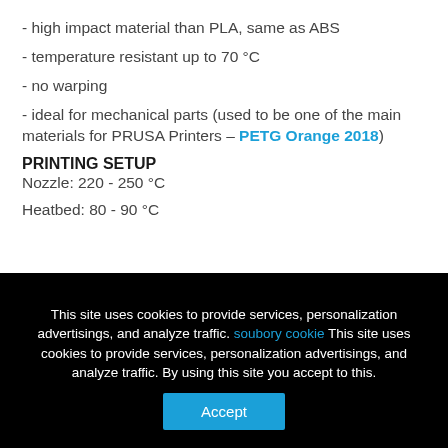- high impact material than PLA, same as ABS
- temperature resistant up to 70 °C
- no warping
- ideal for mechanical parts (used to be one of the main materials for PRUSA Printers – PETG Orange 2018)
PRINTING SETUP
Nozzle: 220 - 250 °C
Heatbed: 80 - 90 °C
This site uses cookies to provide services, personalization advertisings, and analyze traffic. soubory cookie This site uses cookies to provide services, personalization advertisings, and analyze traffic. By using this site you accept to this.
Accept